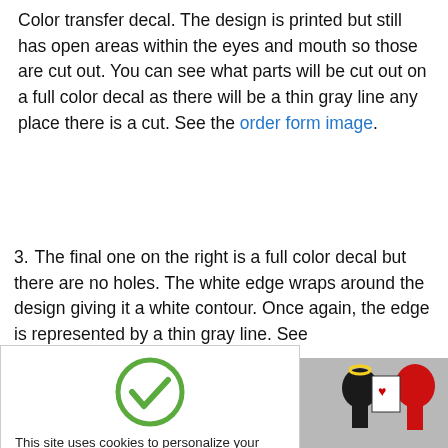Color transfer decal. The design is printed but still has open areas within the eyes and mouth so those are cut out. You can see what parts will be cut out on a full color decal as there will be a thin gray line any place there is a cut. See the order form image.
3. The final one on the right is a full color decal but there are no holes. The white edge wraps around the design giving it a white contour. Once again, the edge is represented by a thin gray line. See ...te that we have ...e website where the ...the red girls tail. ...please use the Direct ...more.
[Figure (other): Cookie consent overlay with green checkmark circle, text about cookies, orange Got It! button]
[Figure (illustration): Partial image showing decal illustrations including black and red animal figures]
[Figure (photo): Partial bottom strip image]